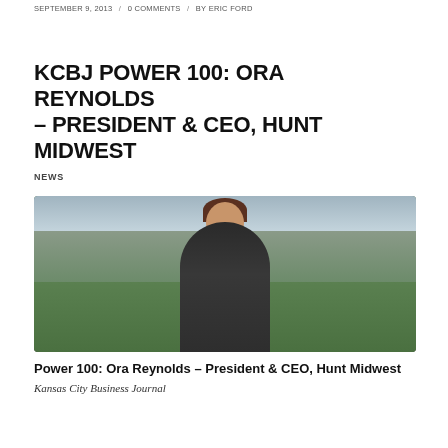SEPTEMBER 9, 2013 / 0 COMMENTS / BY ERIC FORD
KCBJ POWER 100: ORA REYNOLDS – PRESIDENT & CEO, HUNT MIDWEST
NEWS
[Figure (photo): Photo of Ora Reynolds, President & CEO of Hunt Midwest, smiling with arms crossed, wearing a dark blazer, standing outdoors with a suburban real estate development in the background featuring green lawns, trees, and houses under a cloudy sky.]
Power 100: Ora Reynolds – President & CEO, Hunt Midwest
Kansas City Business Journal